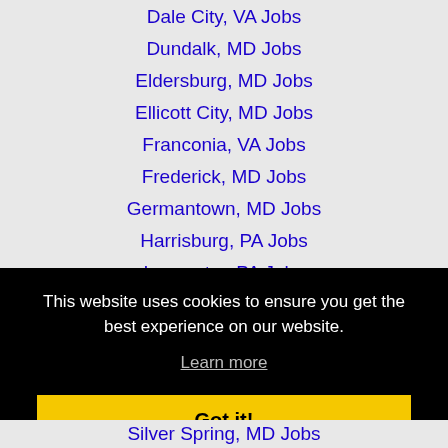Dale City, VA Jobs
Dundalk, MD Jobs
Eldersburg, MD Jobs
Ellicott City, MD Jobs
Franconia, VA Jobs
Frederick, MD Jobs
Germantown, MD Jobs
Harrisburg, PA Jobs
Lancaster, PA Jobs
This website uses cookies to ensure you get the best experience on our website.
Learn more
Got it!
Silver Spring, MD Jobs